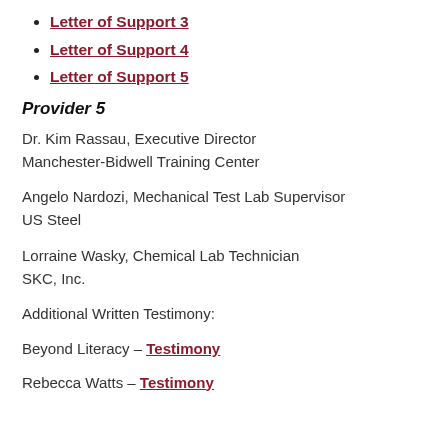Letter of Support 3
Letter of Support 4
Letter of Support 5
Provider 5
Dr. Kim Rassau, Executive Director
Manchester-Bidwell Training Center
Angelo Nardozi, Mechanical Test Lab Supervisor
US Steel
Lorraine Wasky, Chemical Lab Technician
SKC, Inc.
Additional Written Testimony:
Beyond Literacy – Testimony
Rebecca Watts – Testimony